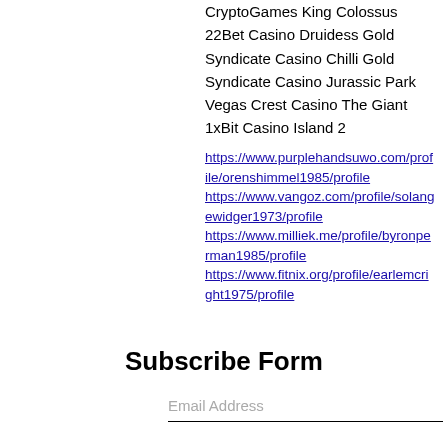CryptoGames King Colossus
22Bet Casino Druidess Gold
Syndicate Casino Chilli Gold
Syndicate Casino Jurassic Park
Vegas Crest Casino The Giant
1xBit Casino Island 2
https://www.purplehandsuwo.com/profile/orenshimmel1985/profile https://www.vangoz.com/profile/solangewidger1973/profile https://www.milliek.me/profile/byronperman1985/profile https://www.fitnix.org/profile/earlemcright1975/profile
Subscribe Form
Email Address